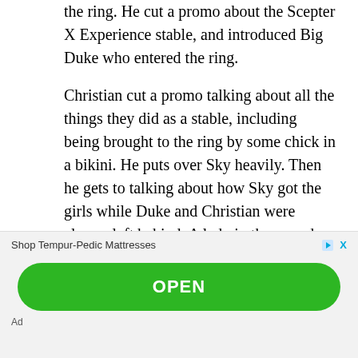the ring. He cut a promo about the Scepter X Experience stable, and introduced Big Duke who entered the ring.
Christian cut a promo talking about all the things they did as a stable, including being brought to the ring by some chick in a bikini. He puts over Sky heavily. Then he gets to talking about how Sky got the girls while Duke and Christian were always left behind. A lady in the crowd went “we know what’s goin’ to happen now!” Christian then calls Sky an “arrogant prick” and she goes “I knew it!” This eventually leads to Duke giving Sky a clothesline. A few guys clapped, while others booed to end the show. This was a really good way to end the show and a really well done angle
Shop Tempur-Pedic Mattresses
OPEN
Ad